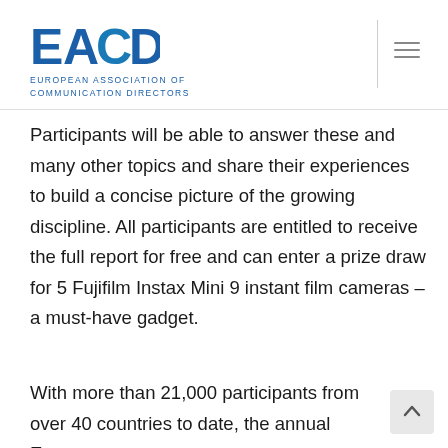EACD — EUROPEAN ASSOCIATION OF COMMUNICATION DIRECTORS
Participants will be able to answer these and many other topics and share their experiences to build a concise picture of the growing discipline. All participants are entitled to receive the full report for free and can enter a prize draw for 5 Fujifilm Instax Mini 9 instant film cameras – a must-have gadget.
With more than 21,000 participants from over 40 countries to date, the annual European